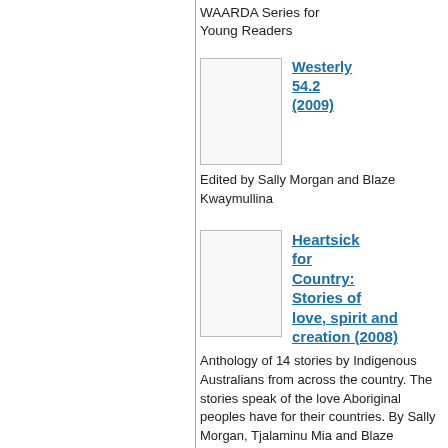WAARDA Series for Young Readers
[Figure (illustration): Blank book cover thumbnail for Westerly 54.2 (2009)]
Westerly 54.2 (2009)
Edited by Sally Morgan and Blaze Kwaymullina
[Figure (illustration): Blank book cover thumbnail for Heartsick for Country: Stories of love, spirit and creation (2008)]
Heartsick for Country: Stories of love, spirit and creation (2008)
Anthology of 14 stories by Indigenous Australians from across the country. The stories speak of the love Aboriginal peoples have for their countries. By Sally Morgan, Tjalaminu Mia and Blaze Kwaymullina